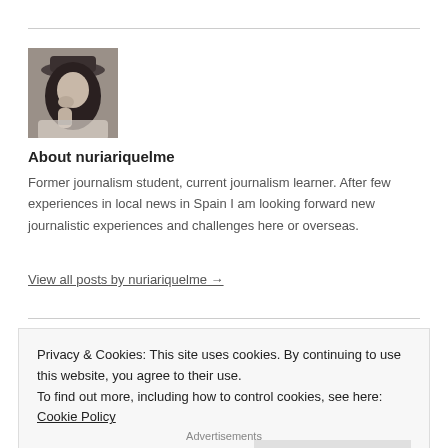[Figure (photo): Black and white photo of a woman wearing a hat, looking down, with long hair]
About nuriariquelme
Former journalism student, current journalism learner. After few experiences in local news in Spain I am looking forward new journalistic experiences and challenges here or overseas.
View all posts by nuriariquelme →
Privacy & Cookies: This site uses cookies. By continuing to use this website, you agree to their use.
To find out more, including how to control cookies, see here: Cookie Policy
Close and accept
Advertisements